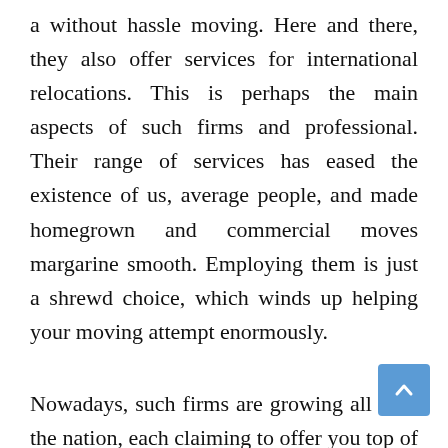a without hassle moving. Here and there, they also offer services for international relocations. This is perhaps the main aspects of such firms and professional. Their range of services has eased the existence of us, average people, and made homegrown and commercial moves margarine smooth. Employing them is just a shrewd choice, which winds up helping your moving attempt enormously.
Nowadays, such firms are growing all over the nation, each claiming to offer you top of the line services according to your exact necessities. Take a stab at